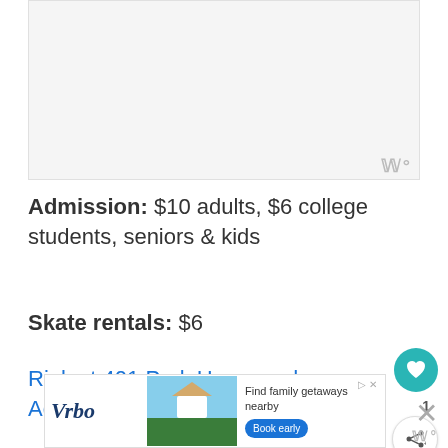[Figure (photo): Light gray image placeholder area at top of page]
Admission: $10 adults, $6 college students, seniors & kids
Skate rentals: $6
Rink at 401 Park Hours and Admission Info
[Figure (infographic): Vrbo advertisement banner: Find family getaways nearby, Book early button]